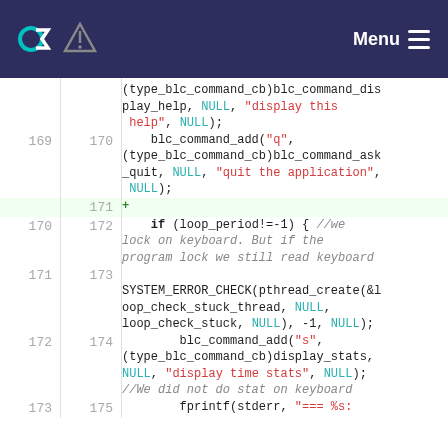Menu
[Figure (screenshot): Code diff viewer showing C source code lines 169-175 with line numbers in two columns (old and new), syntax highlighting in monospace font on white background with one added line (171) highlighted in green]
(type_blc_command_cb)blc_command_display_help, NULL, "display this help", NULL);
    blc_command_add("q", (type_blc_command_cb)blc_command_ask_quit, NULL, "quit the application", NULL);
+
    if (loop_period!=-1) { //we lock on keyboard. But if the program lock we still read keyboard

SYSTEM_ERROR_CHECK(pthread_create(&loop_check_stuck_thread, NULL, loop_check_stuck, NULL), -1, NULL);
        blc_command_add("s", (type_blc_command_cb)display_stats, NULL, "display time stats", NULL);
//We did not do stat on keyboard
        fprintf(stderr, "=== %s: